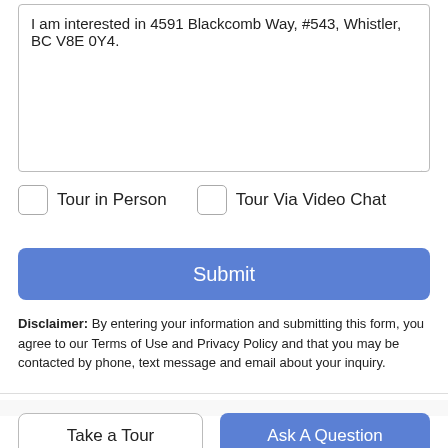I am interested in 4591 Blackcomb Way, #543, Whistler, BC V8E 0Y4.
Tour in Person
Tour Via Video Chat
Submit
Disclaimer: By entering your information and submitting this form, you agree to our Terms of Use and Privacy Policy and that you may be contacted by phone, text message and email about your inquiry.
Take a Tour
Ask A Question